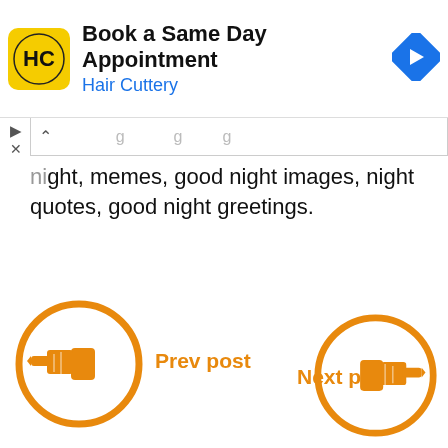[Figure (screenshot): Mobile advertisement banner for Hair Cuttery: yellow logo with HC letters, title 'Book a Same Day Appointment', subtitle 'Hair Cuttery' in blue, blue diamond navigation arrow on right]
night, memes, good night images, night quotes, good night greetings.
[Figure (infographic): Two orange circular navigation buttons: left button shows a pointing hand icon facing left with label 'Prev post', right button shows a pointing hand icon facing right with label 'Next post']